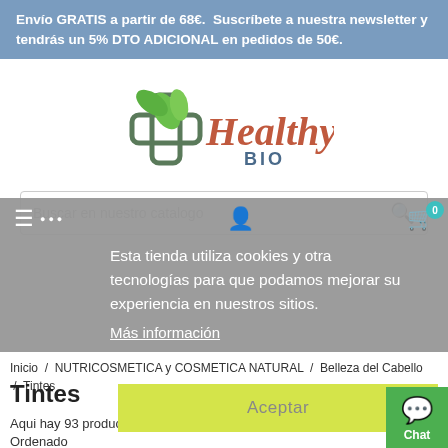Envío GRATIS a partir de 68€. Suscríbete a nuestra newsletter y tendrás un 5% DTO ADICIONAL en pedidos de 50€.
[Figure (logo): Healthy BIO logo with green leaves and cross symbol]
Buscar en nuestro catalogo
Esta tienda utiliza cookies y otras tecnologías para que podamos mejorar su experiencia en nuestros sitios.
Más información
Inicio / NUTRICOSMETICA y COSMETICA NATURAL / Belleza del Cabello / Tintes
Tintes
Aceptar
Aqui hay 93 productos.
Ordenado